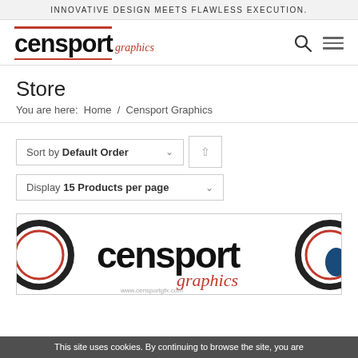INNOVATIVE DESIGN MEETS FLAWLESS EXECUTION.
[Figure (logo): Censport Graphics logo with red horizontal lines above and below, black bold 'censport' text and red italic 'graphics' script text, with search and hamburger menu icons]
Store
You are here:  Home  /  Censport Graphics
Sort by Default Order  ↑
Display 15 Products per page
[Figure (screenshot): Censport Graphics product banner image showing the censport graphics logo on a white background with circular design elements and website URL www.censportgfx.com]
This site uses cookies. By continuing to browse the site, you are